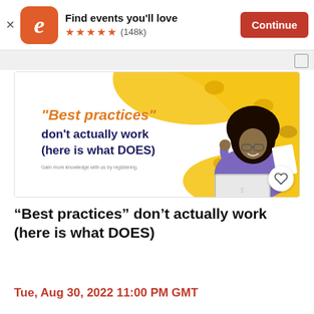Find events you'll love  ★★★★★ (148k)  Continue
[Figure (illustration): Event promotional banner with yellow blobs background, woman at laptop, text: '"Best practices" don't actually work (here is what DOES). Gain more knowledge with us by registering.']
“Best practices” don’t actually work (here is what DOES)
Tue, Aug 30, 2022 11:00 PM GMT